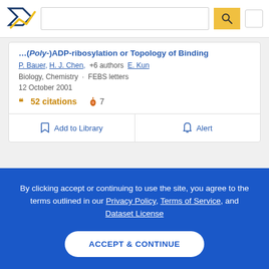[Figure (screenshot): Semantic Scholar logo with navy/gold checkmark design]
...( Poly-) ADP-ribosylation or Topology of Binding
P. Bauer, H. J. Chen, +6 authors E. Kun
Biology, Chemistry · FEBS letters
12 October 2001
52 citations  7
Add to Library
Alert
By clicking accept or continuing to use the site, you agree to the terms outlined in our Privacy Policy, Terms of Service, and Dataset License
ACCEPT & CONTINUE